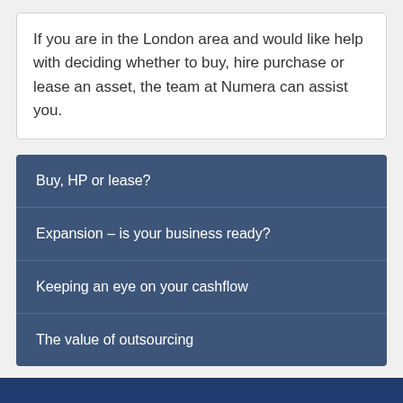If you are in the London area and would like help with deciding whether to buy, hire purchase or lease an asset, the team at Numera can assist you.
Buy, HP or lease?
Expansion – is your business ready?
Keeping an eye on your cashflow
The value of outsourcing